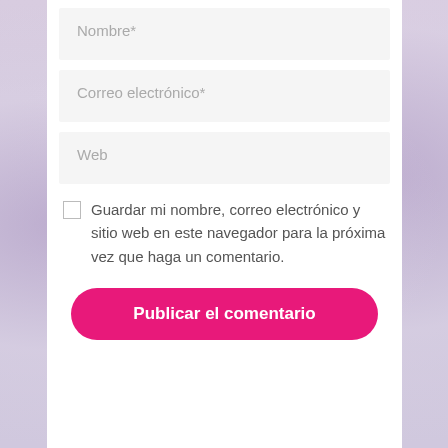Nombre*
Correo electrónico*
Web
Guardar mi nombre, correo electrónico y sitio web en este navegador para la próxima vez que haga un comentario.
Publicar el comentario